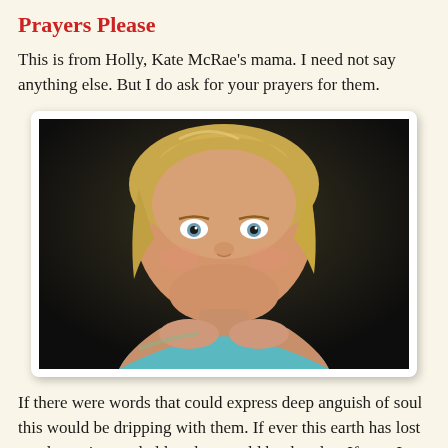Prayers Please
This is from Holly, Kate McRae's mama. I need not say anything else. But I do ask for your prayers for them.
[Figure (photo): A young blonde girl, approximately 4-6 years old, smiling at the camera. She is resting her chin on her hands, wearing a light blue/teal top. The background is dark.]
If there were words that could express deep anguish of soul this would be dripping with them. If ever this earth has lost any luster it once held, today would be that day. If ever I